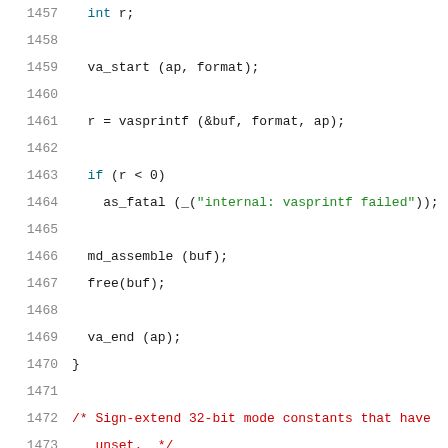Source code listing lines 1457-1477
1457    int r;
1458    (blank)
1459    va_start (ap, format);
1460    (blank)
1461    r = vasprintf (&buf, format, ap);
1462    (blank)
1463    if (r < 0)
1464      as_fatal (_("internal: vasprintf failed"));
1465    (blank)
1466    md_assemble (buf);
1467    free(buf);
1468    (blank)
1469    va_end (ap);
1470  }
1471    (blank)
1472    /* Sign-extend 32-bit mode constants that have
1473       unset.  */
1474    (blank)
1475  static void
1476  normalize_constant_expr (expressionS *ex)
1477  {